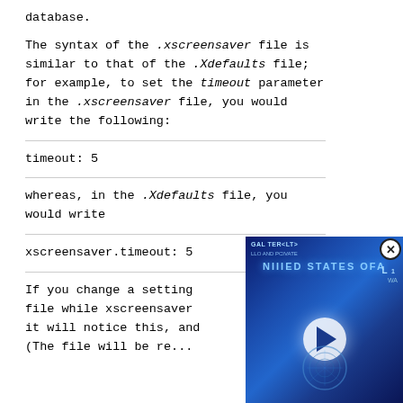database.
The syntax of the .xscreensaver file is similar to that of the .Xdefaults file; for example, to set the timeout parameter in the .xscreensaver file, you would write the following:
timeout: 5
whereas, in the .Xdefaults file, you would write
xscreensaver.timeout: 5
If you change a setting file while xscreensaver it will notice this, and (The file will be re...